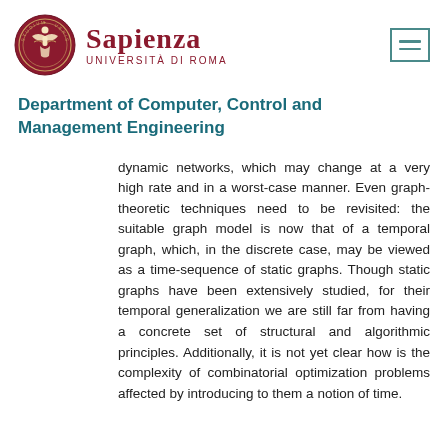Sapienza Università di Roma
Department of Computer, Control and Management Engineering
dynamic networks, which may change at a very high rate and in a worst-case manner. Even graph-theoretic techniques need to be revisited: the suitable graph model is now that of a temporal graph, which, in the discrete case, may be viewed as a time-sequence of static graphs. Though static graphs have been extensively studied, for their temporal generalization we are still far from having a concrete set of structural and algorithmic principles. Additionally, it is not yet clear how is the complexity of combinatorial optimization problems affected by introducing to them a notion of time.